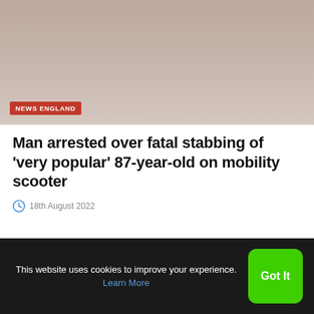[Figure (photo): Blurred photo of a person, used as news article thumbnail image]
NEWS ENGLAND
Man arrested over fatal stabbing of ‘very popular’ 87-year-old on mobility scooter
18th August 2022
[Figure (photo): Second article image placeholder, light grey]
This website uses cookies to improve your experience. Learn More